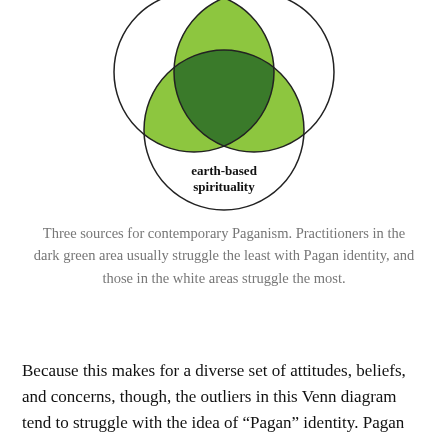[Figure (other): Venn diagram of three overlapping circles representing three sources for contemporary Paganism. The overlapping regions are colored in light green and dark green, with the bottom circle labeled 'earth-based spirituality'.]
Three sources for contemporary Paganism. Practitioners in the dark green area usually struggle the least with Pagan identity, and those in the white areas struggle the most.
Because this makes for a diverse set of attitudes, beliefs, and concerns, though, the outliers in this Venn diagram tend to struggle with the idea of “Pagan” identity. Pagan